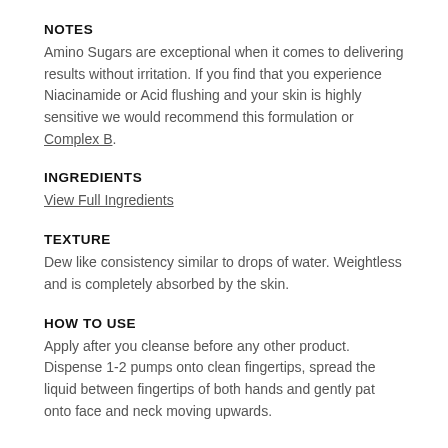NOTES
Amino Sugars are exceptional when it comes to delivering results without irritation. If you find that you experience Niacinamide or Acid flushing and your skin is highly sensitive we would recommend this formulation or Complex B.
INGREDIENTS
View Full Ingredients
TEXTURE
Dew like consistency similar to drops of water. Weightless and is completely absorbed by the skin.
HOW TO USE
Apply after you cleanse before any other product. Dispense 1-2 pumps onto clean fingertips, spread the liquid between fingertips of both hands and gently pat onto face and neck moving upwards.